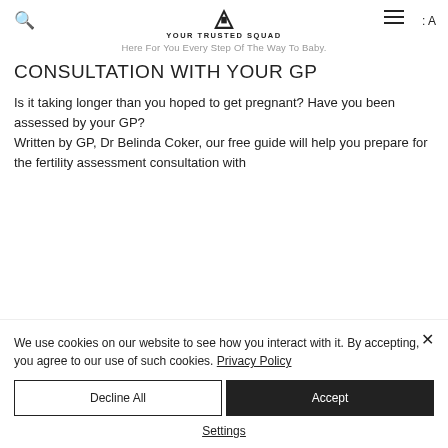YOUR TRUSTED SQUAD
Here For You Every Step Of The Way To Baby.
CONSULTATION WITH YOUR GP
Is it taking longer than you hoped to get pregnant? Have you been assessed by your GP? Written by GP, Dr Belinda Coker, our free guide will help you prepare for the fertility assessment consultation with
We use cookies on our website to see how you interact with it. By accepting, you agree to our use of such cookies. Privacy Policy
Decline All
Accept
Settings